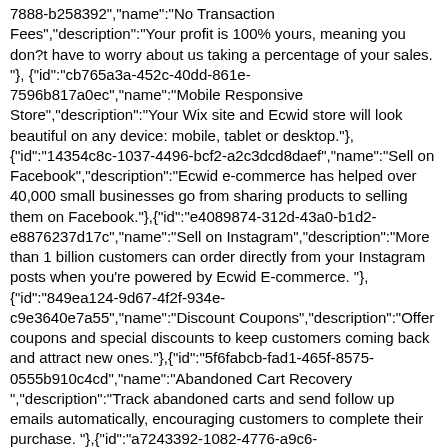7888-b258392","name":"No Transaction Fees","description":"Your profit is 100% yours, meaning you don?t have to worry about us taking a percentage of your sales. "},{"id":"cb765a3a-452c-40dd-861e-7596b817a0ec","name":"Mobile Responsive Store","description":"Your Wix site and Ecwid store will look beautiful on any device: mobile, tablet or desktop."},{"id":"14354c8c-1037-4496-bcf2-a2c3dcd8daef","name":"Sell on Facebook","description":"Ecwid e-commerce has helped over 40,000 small businesses go from sharing products to selling them on Facebook."},{ "id":"e4089874-312d-43a0-b1d2-e8876237d17c","name":"Sell on Instagram","description":"More than 1 billion customers can order directly from your Instagram posts when you're powered by Ecwid E-commerce. "},{"id":"849ea124-9d67-4f2f-934e-c9e3640e7a55","name":"Discount Coupons","description":"Offer coupons and special discounts to keep customers coming back and attract new ones."},{ "id":"5f6fabcb-fad1-465f-8575-0555b910c4cd","name":"Abandoned Cart Recovery ","description":"Track abandoned carts and send follow up emails automatically, encouraging customers to complete their purchase. "},{"id":"a7243392-1082-4776-a9c6-89790af9d1b6","name":"Automatic Tax Calculations","description":"Taxes are complicated, let us do the work for you! Automatically charge precise tax rate depending on where you and your customer are located. No setup required."},{"id":"8ffdce81-2a11-49e9-82b3-6d1e8fb833a3","name":"Sell